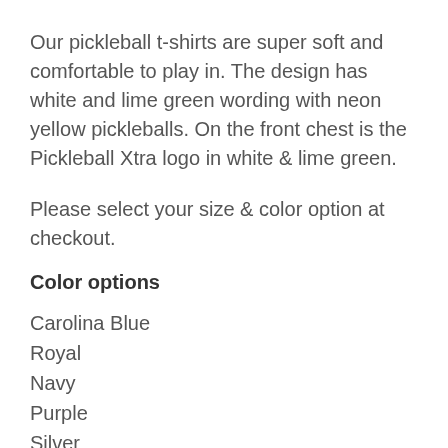Our pickleball t-shirts are super soft and comfortable to play in. The design has white and lime green wording with neon yellow pickleballs. On the front chest is the Pickleball Xtra logo in white & lime green.
Please select your size & color option at checkout.
Color options
Carolina Blue
Royal
Navy
Purple
Silver
Black
Forest Green
M…